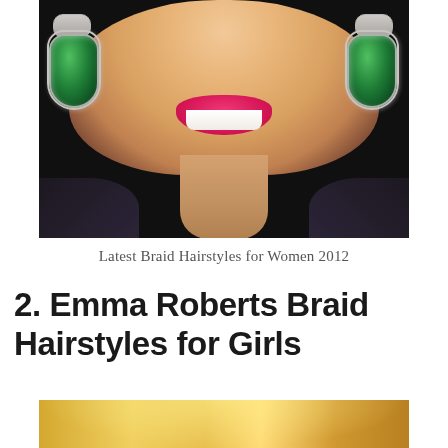[Figure (photo): Close-up photo of a woman smiling with bright pink/magenta lipstick, wearing ornate drop earrings with green gemstones and silver diamond-encrusted settings, on a dark background]
Latest Braid Hairstyles for Women 2012
2. Emma Roberts Braid Hairstyles for Girls
[Figure (photo): Partial photo of a woman with blonde braided hair, shown from the top of the frame, colorful background]